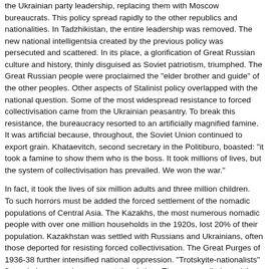the Ukrainian party leadership, replacing them with Moscow bureaucrats. This policy spread rapidly to the other republics and nationalities. In Tadzhikistan, the entire leadership was removed. The new national intelligentsia created by the previous policy was persecuted and scattered. In its place, a glorification of Great Russian culture and history, thinly disguised as Soviet patriotism, triumphed. The Great Russian people were proclaimed the "elder brother and guide" of the other peoples. Other aspects of Stalinist policy overlapped with the national question. Some of the most widespread resistance to forced collectivisation came from the Ukrainian peasantry. To break this resistance, the bureaucracy resorted to an artificially magnified famine. It was artificial because, throughout, the Soviet Union continued to export grain. Khataevitch, second secretary in the Politiburo, boasted: "it took a famine to show them who is the boss. It took millions of lives, but the system of collectivisation has prevailed. We won the war."
In fact, it took the lives of six million adults and three million children. To such horrors must be added the forced settlement of the nomadic populations of Central Asia. The Kazakhs, the most numerous nomadic people with over one million households in the 1920s, lost 20% of their population. Kazakhstan was settled with Russians and Ukrainians, often those deported for resisting forced collectivisation. The Great Purges of 1936-38 further intensified national oppression. "Trotskyite-nationalists" figure in large number amongst the victims. The purges eliminated the greater part of the "Stalinist" elite built up after 1923. This included the party leadership and the cultural intelligentsia built up throughout the period of korenizatsiia. It was felt as a cultural genocide perpetrated against the peoples "awakened" to national life by Stalin's earlier policies. These crimes were to weigh heavily in the independence struggles at the end of the 1980s, but were not limited to...